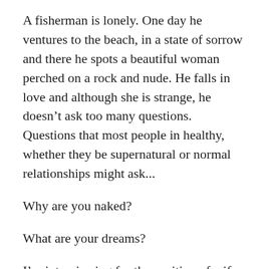A fisherman is lonely. One day he ventures to the beach, in a state of sorrow and there he spots a beautiful woman perched on a rock and nude. He falls in love and although she is strange, he doesn't ask too many questions. Questions that most people in healthy, whether they be supernatural or normal relationships might ask...
Why are you naked?
What are your dreams?
I'm interviewing for the position of wife. What are your short term and long term goals?
Or even maybe,